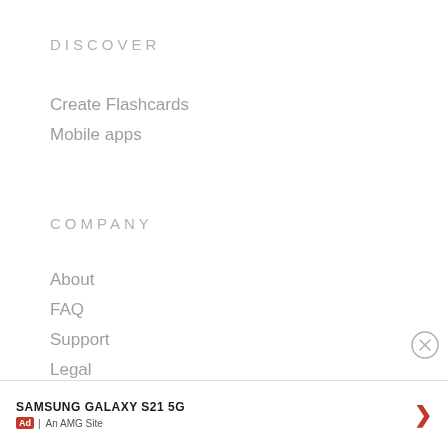DISCOVER
Create Flashcards
Mobile apps
COMPANY
About
FAQ
Support
Legal
[Figure (other): Close button (circle with X) on the right side]
SAMSUNG GALAXY S21 5G  |  Ad | An AMG Site